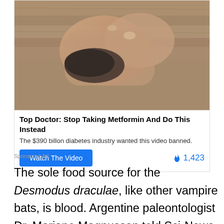[Figure (photo): Close-up photo of human hands/feet on wooden surface, appears to be a medical advertisement image]
Top Doctor: Stop Taking Metformin And Do This Instead
The $390 billon diabetes industry wanted this video banned.
Watch The Video   🔥 1,423
Sponsored Ad
The sole food source for the Desmodus draculae, like other vampire bats, is blood. Argentine paleontologist Dr. Mariano Magnussen told Sci-News the extinct bats got their names from the legend of Count Dracula. All vampire bats belong to the subspecies